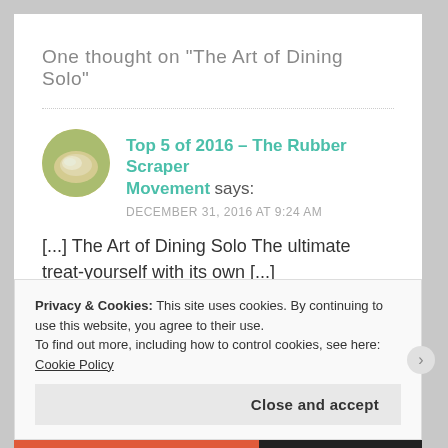One thought on “The Art of Dining Solo”
Top 5 of 2016 – The Rubber Scraper Movement says:
DECEMBER 31, 2016 AT 9:24 AM
[...] The Art of Dining Solo The ultimate treat-yourself with its own [...]
Privacy & Cookies: This site uses cookies. By continuing to use this website, you agree to their use.
To find out more, including how to control cookies, see here: Cookie Policy
Close and accept